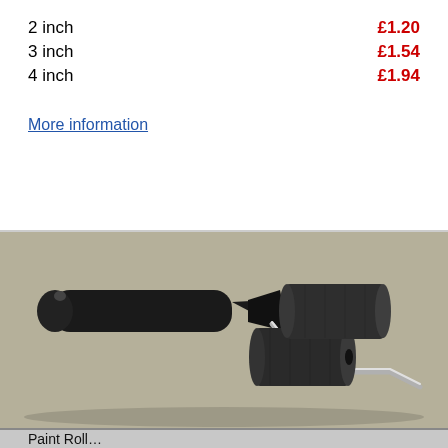2 inch    £1.20
3 inch    £1.54
4 inch    £1.94
More information
[Figure (photo): A paint roller handle with metal frame and two foam roller sleeve attachments on a grey/beige background.]
Paint Roll...